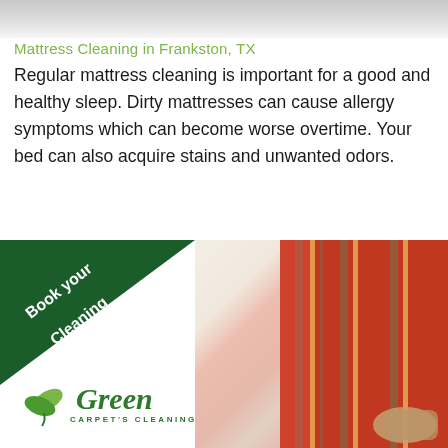[Figure (photo): Gray top image bar, partial photo of mattress or similar surface at top of page]
Mattress Cleaning in Frankston, TX
Regular mattress cleaning is important for a good and healthy sleep. Dirty mattresses can cause allergy symptoms which can become worse overtime. Your bed can also acquire stains and unwanted odors.
[Figure (photo): Dark green diagonal badge with white bold text 'Book your Cleaning' in the lower-left quadrant; right side shows a photo of red and beige striped curtains being cleaned with a cleaning wand/tool]
[Figure (logo): Green Carpet's Cleaning logo with two green leaf icons and the text 'Green' in dark green italic serif font, with 'CARPET'S CLEANING' in small caps below]